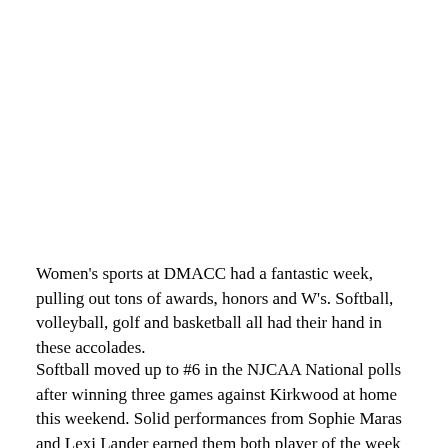Women's sports at DMACC had a fantastic week, pulling out tons of awards, honors and W's. Softball, volleyball, golf and basketball all had their hand in these accolades.
Softball moved up to #6 in the NJCAA National polls after winning three games against Kirkwood at home this weekend. Solid performances from Sophie Maras and Lexi Lander earned them both player of the week honors from the ICCAC. Maras earned Player of the Week with a stat line of 5 HRs 16 RBIs and 10 SBs.